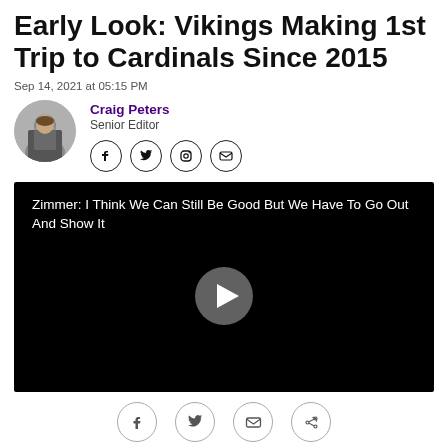Early Look: Vikings Making 1st Trip to Cardinals Since 2015
Sep 14, 2021 at 05:15 PM
Craig Peters
Senior Editor
[Figure (photo): Headshot of Craig Peters, senior editor, man in suit]
[Figure (screenshot): Video player with black background. Title: Zimmer: I Think We Can Still Be Good But We Have To Go Out And Show It. Play button in center.]
[Figure (other): Footer social sharing icons: Facebook, Twitter, Email, Link]